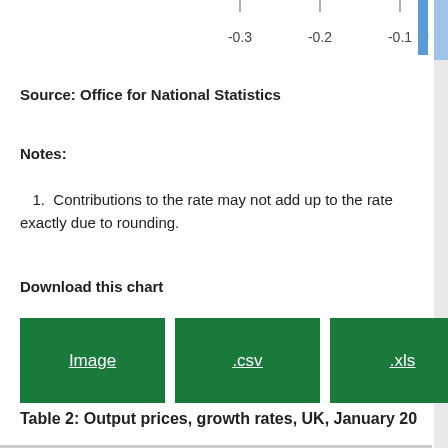[Figure (other): Partial top of a horizontal bar chart showing x-axis labels: -0.3, -0.2, -0.1, 0, with tick marks visible at top of page]
Source: Office for National Statistics
Notes:
1. Contributions to the rate may not add up to the rate exactly due to rounding.
Download this chart
Image  .csv  .xls
Table 2: Output prices, growth rates, UK, January 20